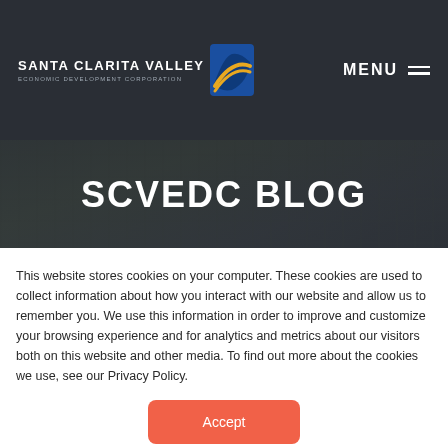[Figure (logo): Santa Clarita Valley Economic Development Corporation logo with blue square icon and white text]
SCVEDC BLOG
This website stores cookies on your computer. These cookies are used to collect information about how you interact with our website and allow us to remember you. We use this information in order to improve and customize your browsing experience and for analytics and metrics about our visitors both on this website and other media. To find out more about the cookies we use, see our Privacy Policy.
Accept